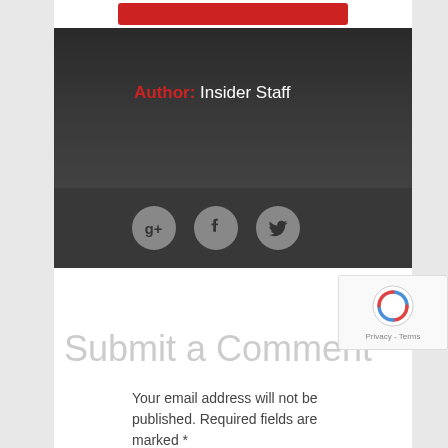[Figure (other): Partial red button at top of content area]
Author: Insider Staff
[Figure (other): Social media icon buttons: Google+, Facebook, Twitter]
Submit a Comment
Your email address will not be published. Required fields are marked *
[Figure (other): reCAPTCHA widget with Privacy - Terms label]